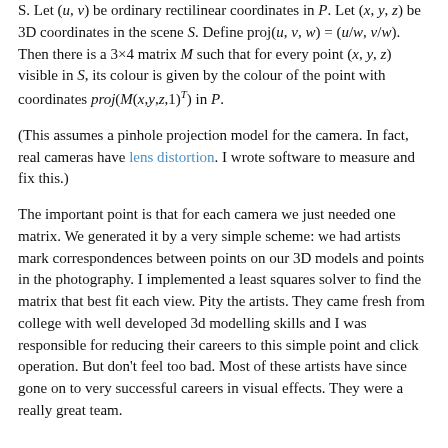S. Let (u, v) be ordinary rectilinear coordinates in P. Let (x, y, z) be 3D coordinates in the scene S. Define proj(u, v, w) = (u/w, v/w). Then there is a 3×4 matrix M such that for every point (x, y, z) visible in S, its colour is given by the colour of the point with coordinates proj(M(x,y,z,1)^T) in P.
(This assumes a pinhole projection model for the camera. In fact, real cameras have lens distortion. I wrote software to measure and fix this.)
The important point is that for each camera we just needed one matrix. We generated it by a very simple scheme: we had artists mark correspondences between points on our 3D models and points in the photography. I implemented a least squares solver to find the matrix that best fit each view. Pity the artists. They came fresh from college with well developed 3d modelling skills and I was responsible for reducing their careers to this simple point and click operation. But don't feel too bad. Most of these artists have since gone on to very successful careers in visual effects. They were a really great team.